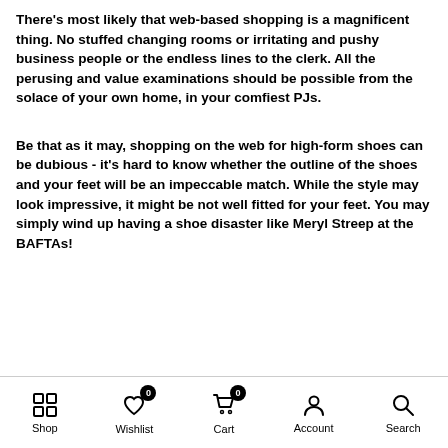There's most likely that web-based shopping is a magnificent thing. No stuffed changing rooms or irritating and pushy business people or the endless lines to the clerk. All the perusing and value examinations should be possible from the solace of your own home, in your comfiest PJs.
Be that as it may, shopping on the web for high-form shoes can be dubious - it's hard to know whether the outline of the shoes and your feet will be an impeccable match. While the style may look impressive, it might be not well fitted for your feet. You may simply wind up having a shoe disaster like Meryl Streep at the BAFTAs!
Shop | Wishlist 0 | Cart 0 | Account | Search